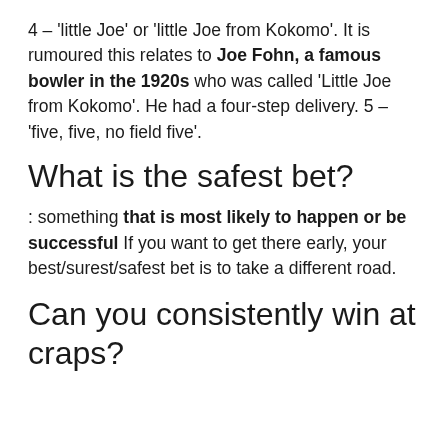4 – 'little Joe' or 'little Joe from Kokomo'. It is rumoured this relates to Joe Fohn, a famous bowler in the 1920s who was called 'Little Joe from Kokomo'. He had a four-step delivery. 5 – 'five, five, no field five'.
What is the safest bet?
: something that is most likely to happen or be successful If you want to get there early, your best/surest/safest bet is to take a different road.
Can you consistently win at craps?